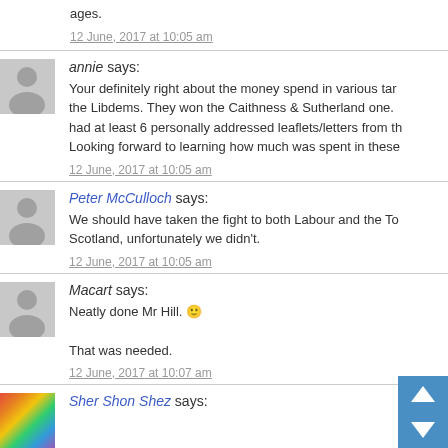ages.
12 June, 2017 at 10:05 am
annie says:
Your definitely right about the money spend in various tar... the Libdems. They won the Caithness & Sutherland one. had at least 6 personally addressed leaflets/letters from th... Looking forward to learning how much was spent in these
12 June, 2017 at 10:05 am
Peter McCulloch says:
We should have taken the fight to both Labour and the To... Scotland, unfortunately we didn't.
12 June, 2017 at 10:05 am
Macart says:
Neatly done Mr Hill. 🙂

That was needed.
12 June, 2017 at 10:07 am
Sher Shon Shez says: